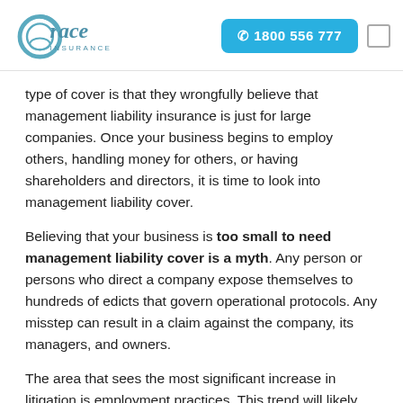Grace Insurance | ✆ 1800 556 777
type of cover is that they wrongfully believe that management liability insurance is just for large companies. Once your business begins to employ others, handling money for others, or having shareholders and directors, it is time to look into management liability cover.
Believing that your business is too small to need management liability cover is a myth. Any person or persons who direct a company expose themselves to hundreds of edicts that govern operational protocols. Any misstep can result in a claim against the company, its managers, and owners.
The area that sees the most significant increase in litigation is employment practices. This trend will likely